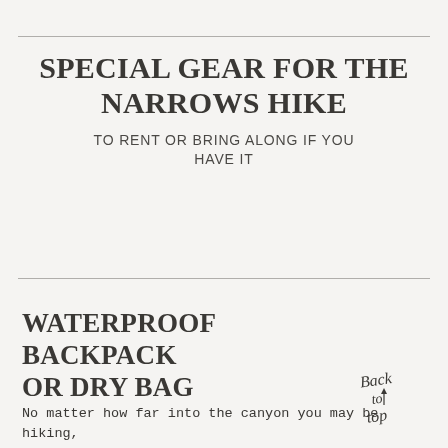SPECIAL GEAR FOR THE NARROWS HIKE
TO RENT OR BRING ALONG IF YOU HAVE IT
WATERPROOF BACKPACK OR DRY BAG
No matter how far into the canyon you may be hiking, you'll want to consider bringing along a dry bag or